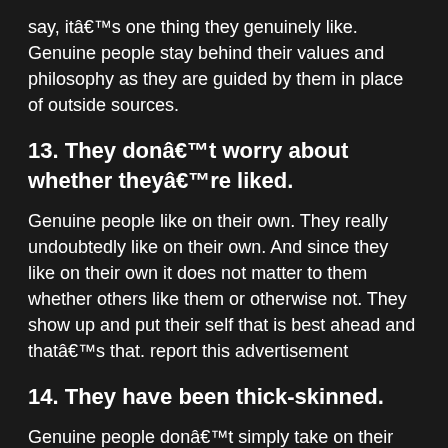say, itâ€™s one thing they genuinely like. Genuine people stay behind their values and philosophy as they are guided by them in place of outside sources.
13. They donâ€™t worry about whether theyâ€™re liked.
Genuine people like on their own. They really undoubtedly like on their own. And since they like on their own it does not matter to them whether others like them or otherwise not. They show up and put their self that is best ahead and thatâ€™s that. report this advertisement
14. They have been thick-skinned.
Genuine people donâ€™t simply take on their own therefore seriously which they donâ€™t become offended easily